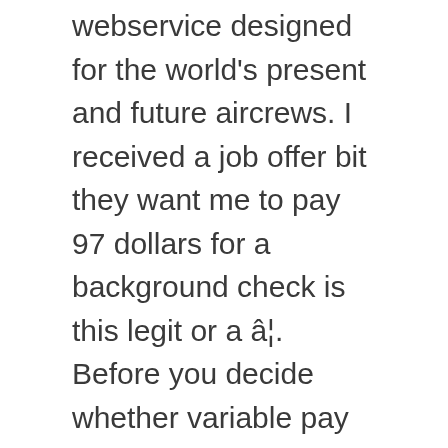webservice designed for the world's present and future aircrews. I received a job offer bit they want me to pay 97 dollars for a background check is this legit or a â¦. Before you decide whether variable pay is right for your org, get a deeper understanding of the variable pay options and the cultural impact of pay choices. Starting salaries for newly qualified first officers, working for a small operation, may be around £24,000. DHL Aviation Jobs - January 2021 | Indeed.co.uk Skip to Job Postings , Search Close For private aviation pilots, no two days are ever the same and you could fly virtually anywhere in the world depending on where the Principal wants to travel. What is the interview